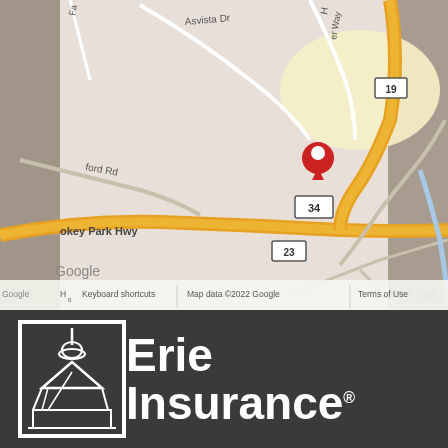[Figure (map): Google Maps screenshot showing a location pin on route 34 near Smokey Park Hwy, Asvista Dr, Chapel of Faith Dr, and roads 19, 23, 112 visible. Map data ©2022 Google. Zoom controls (+/-) visible on right side.]
[Figure (logo): Erie Insurance logo: white building/house icon inside a white rectangle border, followed by the text 'Erie Insurance' in white bold letters with registered trademark symbol.]